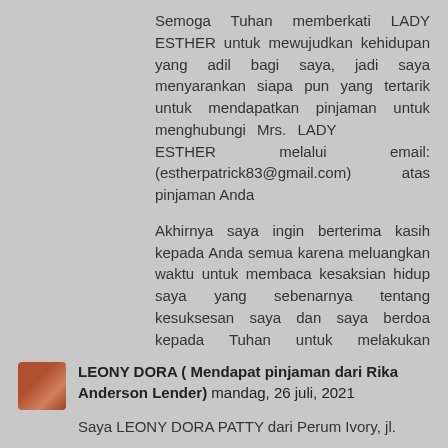Semoga Tuhan memberkati LADY ESTHER untuk mewujudkan kehidupan yang adil bagi saya, jadi saya menyarankan siapa pun yang tertarik untuk mendapatkan pinjaman untuk menghubungi Mrs. LADY ESTHER melalui email: (estherpatrick83@gmail.com) atas pinjaman Anda
Akhirnya saya ingin berterima kasih kepada Anda semua karena meluangkan waktu untuk membaca kesaksian hidup saya yang sebenarnya tentang kesuksesan saya dan saya berdoa kepada Tuhan untuk melakukan kehendak-Nya dalam hidup Anda. Anda dapat menghubungi saya untuk informasi lebih lanjut melalui email saya: (nurulyudianto2@gmail.com) Salam
Svar
LEONY DORA ( Mendapat pinjaman dari Rika Anderson Lender) mandag, 26 juli, 2021
Saya LEONY DORA PATTY dari Perum Ivory, jl.